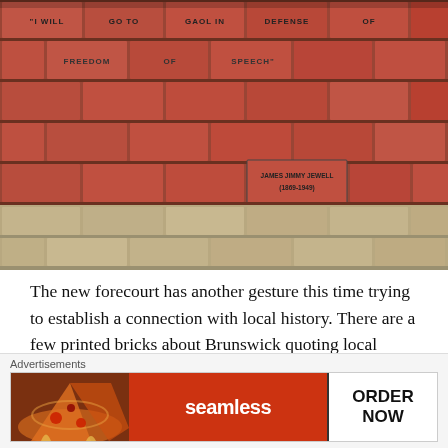[Figure (photo): Photograph of a brick forecourt with engraved text bricks reading: 'I WILL GO TO GAOL IN DEFENSE OF' and 'FREEDOM OF SPEECH' and a brick with 'JAMES JIMMY JEWELL (1869-1949)'. Upper bricks are red/terracotta, lower bricks are tan/sandstone colored.]
The new forecourt has another gesture this time trying to establish a connection with local history. There are a few printed bricks about Brunswick quoting local politician James Jewell (1869-1949) for whom South Brunswick Station was renamed in 1954. Although there are a
Advertisements
[Figure (screenshot): Seamless food delivery advertisement showing pizza image on left, red background with 'seamless' brand text in center, and 'ORDER NOW' call to action on right with dark border.]